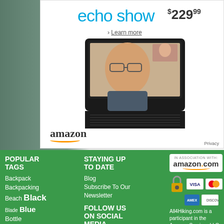[Figure (screenshot): Amazon Echo Show advertisement showing the device with a video call on screen, priced at $229.99 with a Learn more link and Amazon logo. Background shows outdoor scene on left.]
POPULAR TAGS
Backpack
Backpacking
Beach Black
Blade Blue
Bottle
Camping
STAYING UP TO DATE
Blog
Subscribe To Our Newsletter
FOLLOW US ON SOCIAL MEDIA
[Figure (logo): In Association With: amazon.com logo box, payment icons (Visa, Mastercard, Amex, Discover), padlock security icon]
All4Hiking.com is a participant in the Amazon Services LLC Associates Program, an